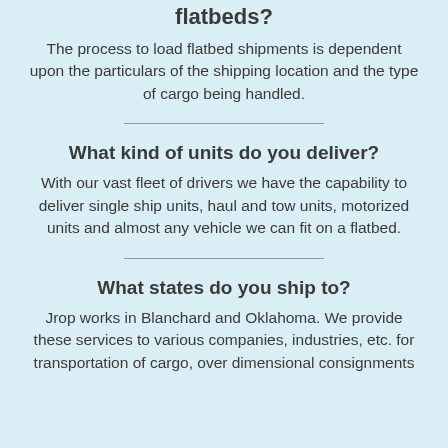flatbeds?
The process to load flatbed shipments is dependent upon the particulars of the shipping location and the type of cargo being handled.
What kind of units do you deliver?
With our vast fleet of drivers we have the capability to deliver single ship units, haul and tow units, motorized units and almost any vehicle we can fit on a flatbed.
What states do you ship to?
Jrop works in Blanchard and Oklahoma. We provide these services to various companies, industries, etc. for transportation of cargo, over dimensional consignments